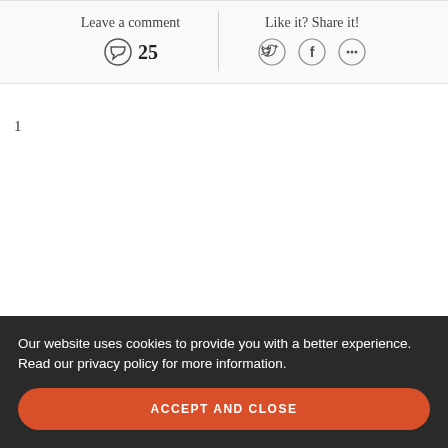Leave a comment
25
Like it? Share it!
1
Our website uses cookies to provide you with a better experience. Read our privacy policy for more information.
ACCEPT AND CLOSE